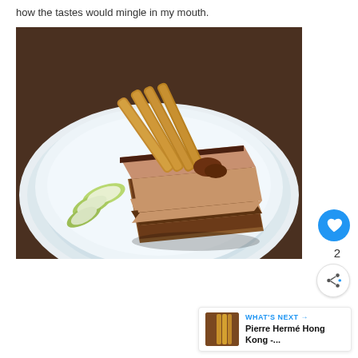how the tastes would mingle in my mouth.
[Figure (photo): A slice of layered chocolate and cream cake topped with cinnamon sticks, served on a white plate with green apple slices]
2
WHAT'S NEXT → Pierre Hermé Hong Kong -...